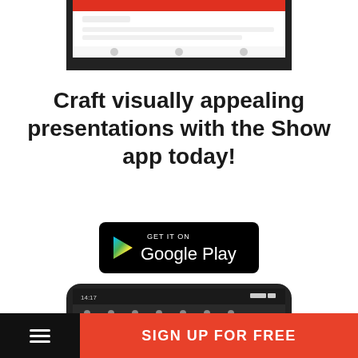[Figure (screenshot): Partial screenshot of a mobile phone screen showing an app interface (top cropped).]
Craft visually appealing presentations with the Show app today!
[Figure (screenshot): Google Play Store badge button with colorful Play triangle icon and 'GET IT ON Google Play' text on black background.]
[Figure (screenshot): Partial screenshot of a mobile phone (bottom portion) showing a dark-themed app interface with toolbar and file name.]
SIGN UP FOR FREE